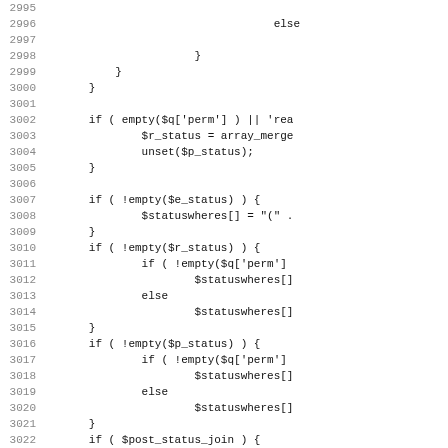[Figure (screenshot): Source code listing showing PHP code with line numbers from 2995 to 3027, featuring conditional logic with if/else blocks, array operations, and status filtering code]